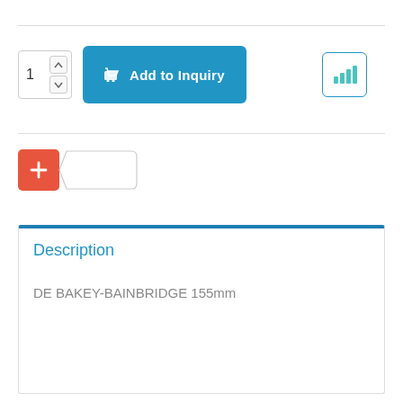[Figure (screenshot): Quantity input box showing '1' with up/down arrows]
[Figure (screenshot): Blue 'Add to Inquiry' button with cart icon]
[Figure (screenshot): Teal bar chart icon button]
[Figure (screenshot): Red plus button with tag/label shape input field]
Description
DE BAKEY-BAINBRIDGE 155mm